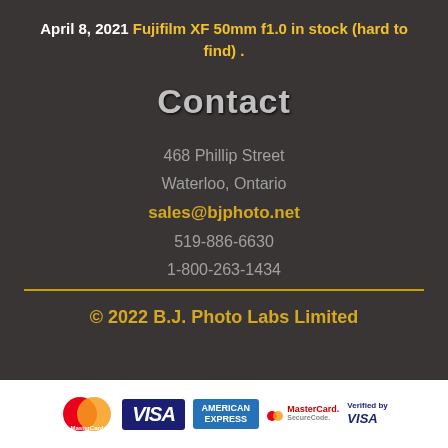April 8, 2021 Fujifilm XF 50mm f1.0 in stock (hard to find) .
Contact
468 Phillip Street
Waterloo, Ontario
sales@bjphoto.net
519-886-6630
1-800-263-1434
© 2022 B.J. Photo Labs Limited
[Figure (other): Payment method logos: MasterCard, VISA, American Express, MasterCard SecureCode, Verified by VISA]